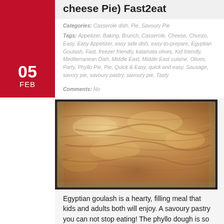cheese Pie) Fast2eat
Categories: Casserole dish, Pie, Savoury Pie
Tags: Appetizer, Baking, Brunch, Casserole, Cheese, Chorizo, Easy, Easy Appetizer, easy side dish, easy-to-prepare, Egyptian Goulash, Fast, freezer friendly, kalamata olives, Kid friendly, Mediterranean Dish, Middle East, Middle East cuisine, Olives, Party, Phyllo Pie, Pie, Quick & Easy, quick and easy, Sausage, savory pie, savoury pastry, savoury pie, Tasty
Comments: No
[Figure (photo): Close-up photo of Egyptian goulash - a baked phyllo dough pie in a glass casserole dish, showing golden brown flaky layers on top]
Egyptian goulash is a hearty, filling meal that kids and adults both will enjoy. A savoury pastry you can not stop eating! The phyllo dough is so flavourful, flaky yet crispy and buttery. It is easy, quick, tastes